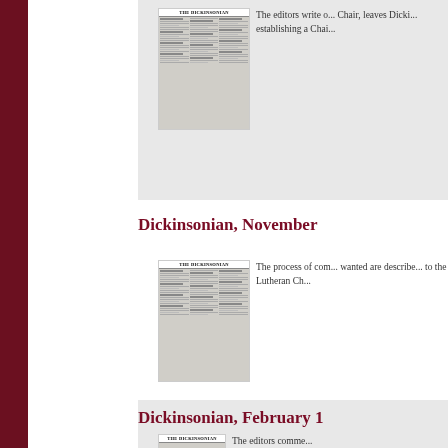[Figure (photo): Thumbnail of a Dickinsonian newspaper front page (top entry)]
The editors write o... Chair, leaves Dicki... establishing a Chai...
Dickinsonian, November ...
[Figure (photo): Thumbnail of a Dickinsonian newspaper front page (November entry)]
The process of com... wanted are describe... to the Lutheran Ch...
Dickinsonian, February 1...
[Figure (photo): Thumbnail of a Dickinsonian newspaper front page (February entry, partially visible)]
The editors comme...